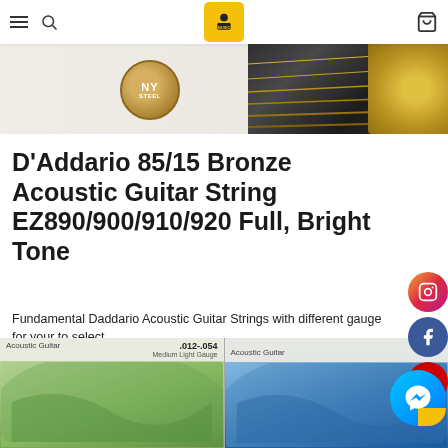Navigation header with hamburger menu, search icon, logo, and cart icon
[Figure (photo): Product image showing D'Addario guitar string packaging with NY Steel badge and guitar strings]
D'Addario 85/15 Bronze Acoustic Guitar String EZ890/900/910/920 Full, Bright Tone
Fundamental Daddario Acoustic Guitar Strings with different gauge for your to select
- EZ890 super light gauge 0.009-0.045
- EZ900 extra light gauge 0.010-0.050
- EZ910 light gauge 0.011-0.052
- EZ920 medium light gauge 0.012-0.54
[Figure (photo): D'Addario acoustic guitar string packages showing medium light gauge (.012-.054) green and blue packaging at the bottom of the page]